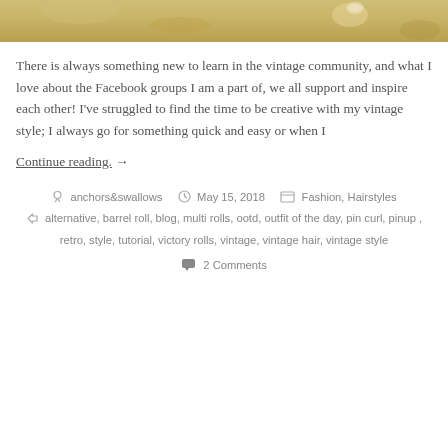[Figure (photo): Partial photo of sandy/stone textured surface, cropped at top of page]
There is always something new to learn in the vintage community, and what I love about the Facebook groups I am a part of, we all support and inspire each other! I've struggled to find the time to be creative with my vintage style; I always go for something quick and easy or when I
Continue reading.  →
anchors&swallows   May 15, 2018   Fashion, Hairstyles
alternative, barrel roll, blog, multi rolls, ootd, outfit of the day, pin curl, pinup , retro, style, tutorial, victory rolls, vintage, vintage hair, vintage style
2 Comments